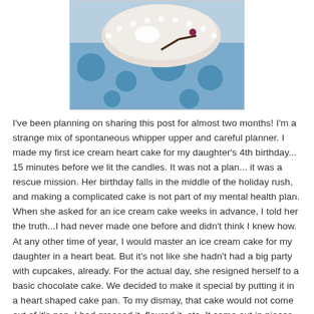[Figure (photo): Photo of an ice cream heart cake in a blue polka dot box with white lace decoration on top]
I've been planning on sharing this post for almost two months! I'm a strange mix of spontaneous whipper upper and careful planner. I made my first ice cream heart cake for my daughter's 4th birthday... 15 minutes before we lit the candles. It was not a plan... it was a rescue mission. Her birthday falls in the middle of the holiday rush, and making a complicated cake is not part of my mental health plan. When she asked for an ice cream cake weeks in advance, I told her the truth...I had never made one before and didn't think I knew how. At any other time of year, I would master an ice cream cake for my daughter in a heart beat. But it's not like she hadn't had a big party with cupcakes, already. For the actual day, she resigned herself to a basic chocolate cake. We decided to make it special by putting it in a heart shaped cake pan. To my dismay, that cake would not come out of it's pan. I had greased it, floured it, etc. It came out in pieces. She was adorifying it, but it didn't smell done. She'd even...